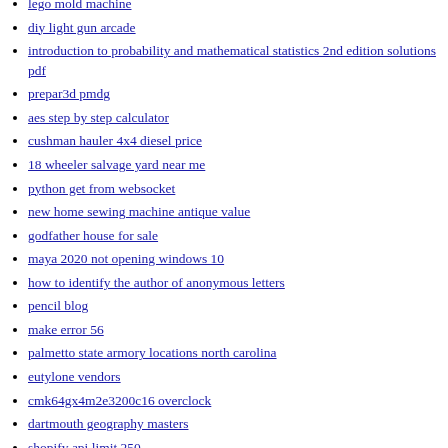lego mold machine
diy light gun arcade
introduction to probability and mathematical statistics 2nd edition solutions pdf
prepar3d pmdg
aes step by step calculator
cushman hauler 4x4 diesel price
18 wheeler salvage yard near me
python get from websocket
new home sewing machine antique value
godfather house for sale
maya 2020 not opening windows 10
how to identify the author of anonymous letters
pencil blog
make error 56
palmetto state armory locations north carolina
eutylone vendors
cmk64gx4m2e3200c16 overclock
dartmouth geography masters
shopify api limit 250
podman network host
victimization psychology
metal detecting in the forest
mib2 coding
hsi special agent physical fitness test